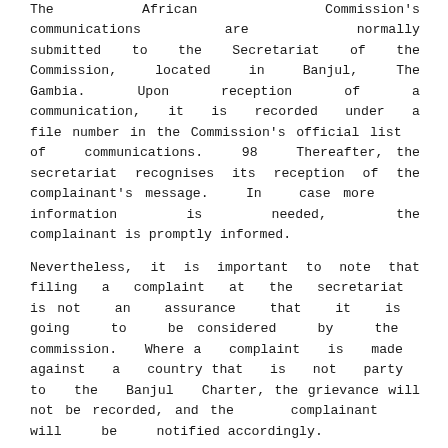The African Commission's communications are normally submitted to the Secretariat of the Commission, located in Banjul, The Gambia. Upon reception of a communication, it is recorded under a file number in the Commission's official list of communications. 98 Thereafter, the secretariat recognises its reception of the complainant's message. In case more information is needed, the complainant is promptly informed.
Nevertheless, it is important to note that filing a complaint at the secretariat is not an assurance that it is going to be considered by the commission. Where a complaint is made against a country that is not party to the Banjul Charter, the grievance will not be recorded, and the complainant will be notified accordingly.